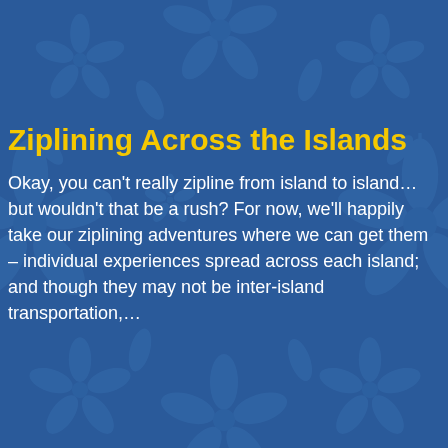Ziplining Across the Islands
Okay, you can't really zipline from island to island… but wouldn't that be a rush? For now, we'll happily take our ziplining adventures where we can get them – individual experiences spread across each island; and though they may not be inter-island transportation,…